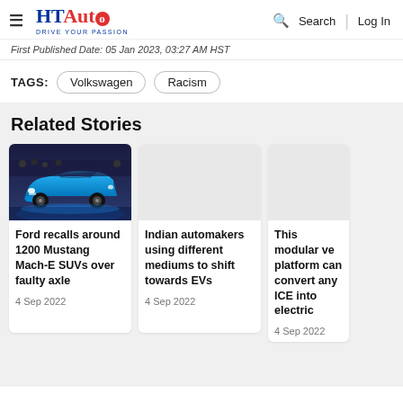HT Auto - Drive Your Passion | Search | Log In
First Published Date: 05 Jan 2023, 03:27 AM HST
TAGS: Volkswagen  Racism
Related Stories
[Figure (photo): Blue Ford Mustang Mach-E SUV on display with crowd in background]
Ford recalls around 1200 Mustang Mach-E SUVs over faulty axle
4 Sep 2022
Indian automakers using different mediums to shift towards EVs
4 Sep 2022
This modular vehicle platform can convert any ICE into electric
4 Sep 2022